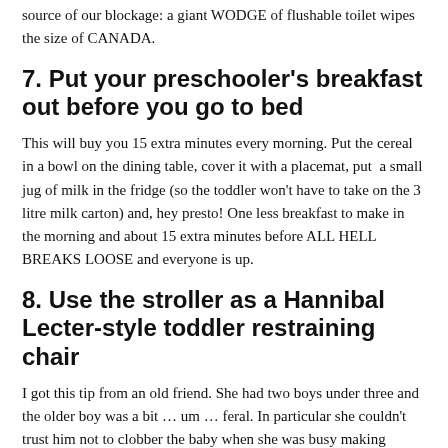source of our blockage: a giant WODGE of flushable toilet wipes the size of CANADA.
7. Put your preschooler's breakfast out before you go to bed
This will buy you 15 extra minutes every morning. Put the cereal in a bowl on the dining table, cover it with a placemat, put  a small jug of milk in the fridge (so the toddler won't have to take on the 3 litre milk carton) and, hey presto! One less breakfast to make in the morning and about 15 extra minutes before ALL HELL BREAKS LOOSE and everyone is up.
8. Use the stroller as a Hannibal Lecter-style toddler restraining chair
I got this tip from an old friend. She had two boys under three and the older boy was a bit … um … feral. In particular she couldn't trust him not to clobber the baby when she was busy making dinner. So her daily routine was this: 5pm, strap the